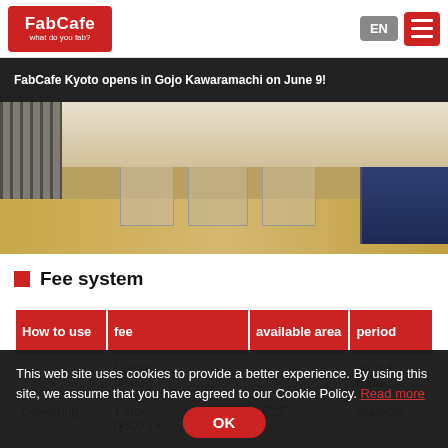FabCafe — what do you fab? | EN
FabCafe Kyoto opens in Gojo Kawaramachi on June 9!
[Figure (photo): Interior cafe photo showing a wooden shelf with glass jars filled with dried ingredients, and blue items on the right side.]
Fee system
| How to use | fee | available area | period |
| --- | --- | --- | --- |
|  | 1 order (¥500-) |  | up to 3 hours |
| Coworking | 1 order (¥500-) + | 1F,2F | available |
This web site uses cookies to provide a better experience. By using this site, we assume that you have agreed to our Cookie Policy. Read more